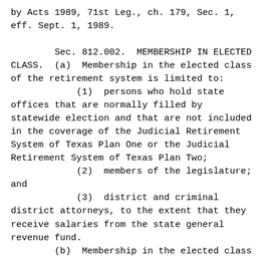by Acts 1989, 71st Leg., ch. 179, Sec. 1, eff. Sept. 1, 1989.
Sec. 812.002.  MEMBERSHIP IN ELECTED CLASS.  (a)  Membership in the elected class of the retirement system is limited to:
            (1)  persons who hold state offices that are normally filled by statewide election and that are not included in the coverage of the Judicial Retirement System of Texas Plan One or the Judicial Retirement System of Texas Plan Two;
            (2)  members of the legislature; and
            (3)  district and criminal district attorneys, to the extent that they receive salaries from the state general revenue fund.
        (b)  Membership in the elected class